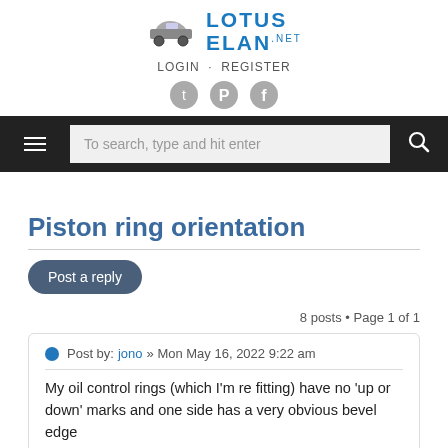LOTUS ELAN .NET  LOGIN · REGISTER
[Figure (screenshot): Navigation bar with hamburger menu, search box with placeholder 'To search, type and hit enter', and search icon]
Piston ring orientation
Post a reply
8 posts • Page 1 of 1
Post by: jono » Mon May 16, 2022 9:22 am
My oil control rings (which I'm re fitting) have no 'up or down' marks and one side has a very obvious bevel edge